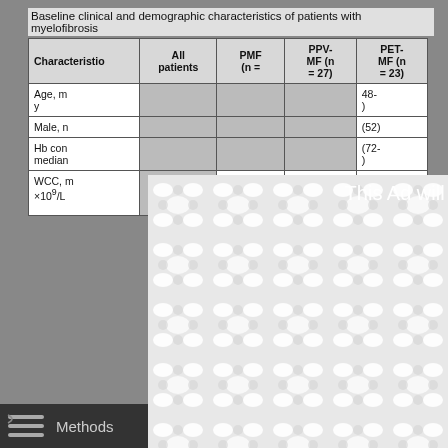Baseline clinical and demographic characteristics of patients with myelofibrosis
| Characteristio | All patients | PMF (n = | PPV-MF (n = 27) | PET-MF (n = 23) |
| --- | --- | --- | --- | --- |
| Age, m[edian, IQR] y |  |  |  | (48-) |
| Male, n[...] |  |  |  | (52) |
| Hb con[...], median[...] |  |  |  | (72-) |
| WCC, m[...] ×10⁹/L |  |  | 4
(IQR...
109.4) | (12-50.5) |
[Figure (other): Advertisement overlay with decorative pattern background showing 'This Ad will close in 14 seconds.' text and a close button]
Methods